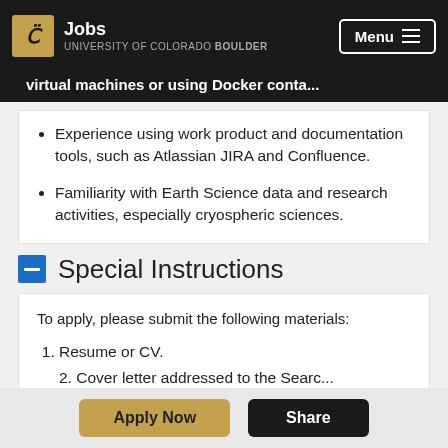Jobs — University of Colorado Boulder | Menu
Experience using work product and documentation tools, such as Atlassian JIRA and Confluence.
Familiarity with Earth Science data and research activities, especially cryospheric sciences.
Special Instructions
To apply, please submit the following materials:
Resume or CV.
Cover letter addressed to the Search...